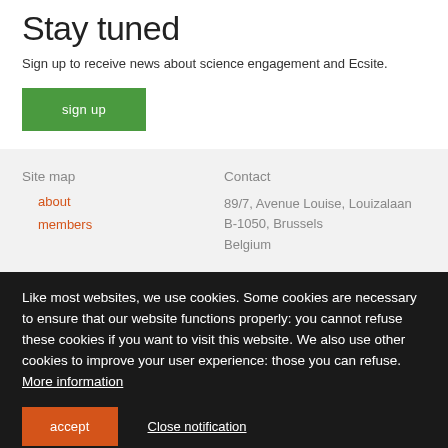Stay tuned
Sign up to receive news about science engagement and Ecsite.
sign up
Site map
about
members
Contact
89/7, Avenue Louise, Louizalaan
B-1050, Brussels
Belgium
Like most websites, we use cookies. Some cookies are necessary to ensure that our website functions properly: you cannot refuse these cookies if you want to visit this website. We also use other cookies to improve your user experience: those you can refuse. More information
accept
Close notification